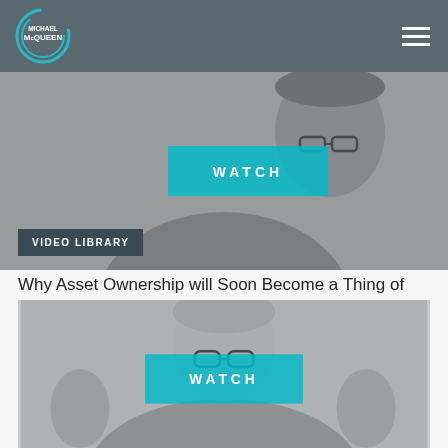Michael McQueen
[Figure (screenshot): Black and white photo of a man with a cap and glasses, gesturing with his hands, with a teal WATCH button overlay]
VIDEO LIBRARY
Why Asset Ownership will Soon Become a Thing of the Past
[Figure (screenshot): Black and white photo of a bald man with glasses raising both hands, with a teal WATCH button overlay]